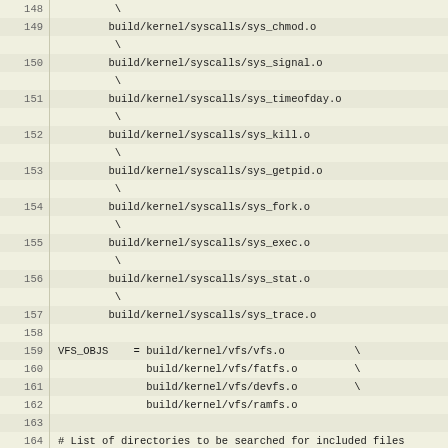| line | code |
| --- | --- |
| 148 |          \ |
| 149 |         build/kernel/syscalls/sys_chmod.o |
|  |          \ |
| 150 |         build/kernel/syscalls/sys_signal.o |
|  |          \ |
| 151 |         build/kernel/syscalls/sys_timeofday.o |
|  |          \ |
| 152 |         build/kernel/syscalls/sys_kill.o |
|  |          \ |
| 153 |         build/kernel/syscalls/sys_getpid.o |
|  |          \ |
| 154 |         build/kernel/syscalls/sys_fork.o |
|  |          \ |
| 155 |         build/kernel/syscalls/sys_exec.o |
|  |          \ |
| 156 |         build/kernel/syscalls/sys_stat.o |
|  |          \ |
| 157 |         build/kernel/syscalls/sys_trace.o |
| 158 |  |
| 159 | VFS_OBJS    = build/kernel/vfs/vfs.o           \ |
| 160 |               build/kernel/vfs/fatfs.o         \ |
| 161 |               build/kernel/vfs/devfs.o         \ |
| 162 |               build/kernel/vfs/ramfs.o |
| 163 |  |
| 164 | # List of directories to be searched for included files |
| 165 | # when compiling for kernel.elf generation |
| 166 | KERNEL_INCLUDE = -Ikernel              \ |
| 167 |                  -Ikernel/kern          \ |
| 168 |                  -Ikernel/devices       \ |
| 169 |                  -Ikernel/syscalls      \ |
| 170 |                  -Ihal/x86_64/drivers   \ |
| 171 |                  -Ikernel/syscalls      \ |
| 172 |                  -Ikernel/libk          \ |